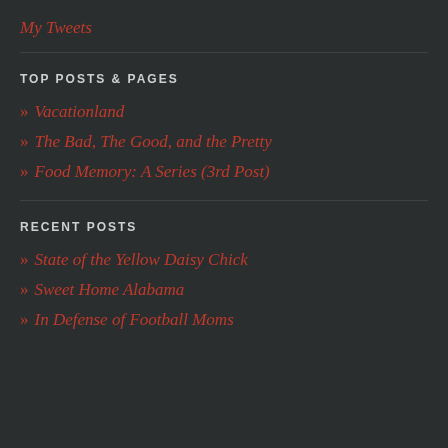My Tweets
TOP POSTS & PAGES
» Vacationland
» The Bad, The Good, and the Pretty
» Food Memory: A Series (3rd Post)
RECENT POSTS
» State of the Yellow Daisy Chick
» Sweet Home Alabama
» In Defense of Football Moms